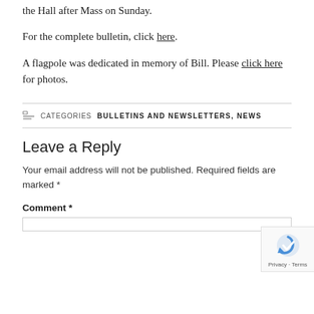the Hall after Mass on Sunday.
For the complete bulletin, click here.
A flagpole was dedicated in memory of Bill. Please click here for photos.
CATEGORIES: BULLETINS AND NEWSLETTERS, NEWS
Leave a Reply
Your email address will not be published. Required fields are marked *
Comment *